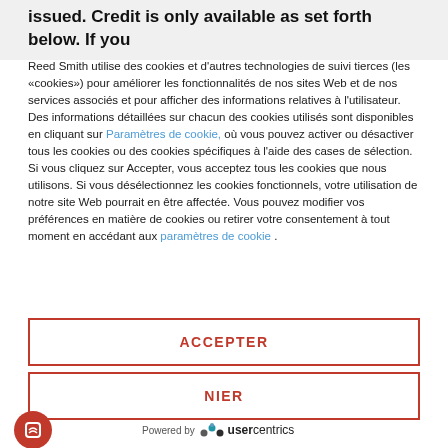issued. Credit is only available as set forth below. If you
Reed Smith utilise des cookies et d'autres technologies de suivi tierces (les «cookies») pour améliorer les fonctionnalités de nos sites Web et de nos services associés et pour afficher des informations relatives à l'utilisateur. Des informations détaillées sur chacun des cookies utilisés sont disponibles en cliquant sur Paramètres de cookie, où vous pouvez activer ou désactiver tous les cookies ou des cookies spécifiques à l'aide des cases de sélection. Si vous cliquez sur Accepter, vous acceptez tous les cookies que nous utilisons. Si vous désélectionnez les cookies fonctionnels, votre utilisation de notre site Web pourrait en être affectée. Vous pouvez modifier vos préférences en matière de cookies ou retirer votre consentement à tout moment en accédant aux paramètres de cookie .
ACCEPTER
NIER
[Figure (logo): Reed Smith / Usercentrics cookie consent footer with fingerprint icon and 'Powered by usercentrics' branding]